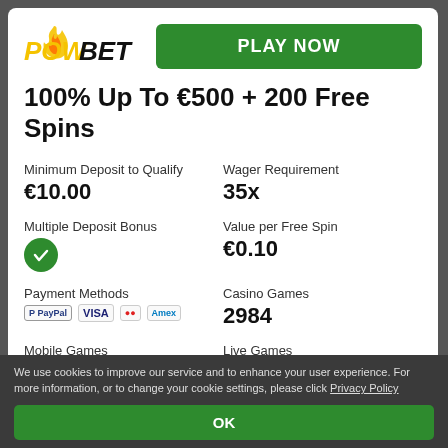[Figure (logo): POWBET casino logo with flame icon, 'POW' in yellow italic and 'BET' in dark italic]
PLAY NOW
100% Up To €500 + 200 Free Spins
Minimum Deposit to Qualify
€10.00
Wager Requirement
35x
Multiple Deposit Bonus
[Figure (illustration): Green circle with white checkmark indicating yes/true]
Value per Free Spin
€0.10
Payment Methods
[Figure (illustration): Payment method icons: PayPal, VISA, Mastercard, American Express]
Casino Games
2984
Mobile Games
2984
Live Games
79
18+ T&C Apply.
We use cookies to improve our service and to enhance your user experience. For more information, or to change your cookie settings, please click Privacy Policy
OK